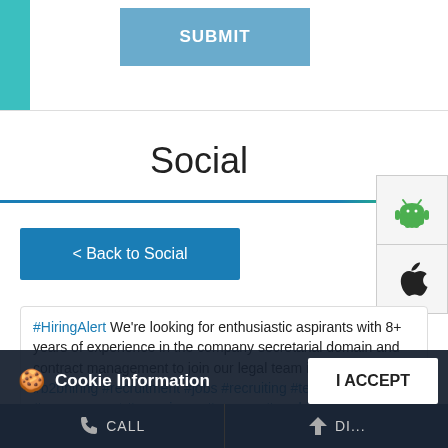[Figure (screenshot): SUBMIT button in blue/teal web UI]
Social
[Figure (screenshot): Android and Apple app store icon buttons on right side]
< Back to Social
#HiringAlert We're looking for enthusiastic aspirants with 8+ years of experience in the company secretarial domain and contract management to join our legal team in Mumbai! #b2bhiring #recruitment #jobs #recruiting #team #jobsearch #management #experience #careers #nowhiring #jobhunters #job #hr #mumbai #vacancy #hiringfori #hiring
Cookie Information
We use cookies to provide you with a great user experience. By using the website, you accept our use of cookies
I ACCEPT
CALL   DIRECTIONS